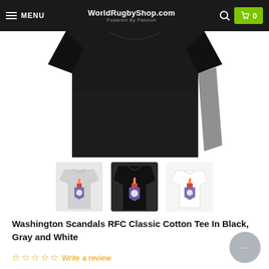MENU | WorldRugbyShop.com | Powered By Passion | 0
[Figure (photo): Close-up of a black t-shirt laid flat, showing the upper portion from shoulders to mid-torso on a white background]
[Figure (photo): Three t-shirt variants shown as thumbnails: gray t-shirt with team logo, black t-shirt with team logo, white t-shirt with team logo. All feature the Washington Scandals RFC shield badge with flame design.]
Washington Scandals RFC Classic Cotton Tee In Black, Gray and White
☆☆☆☆☆ Write a review